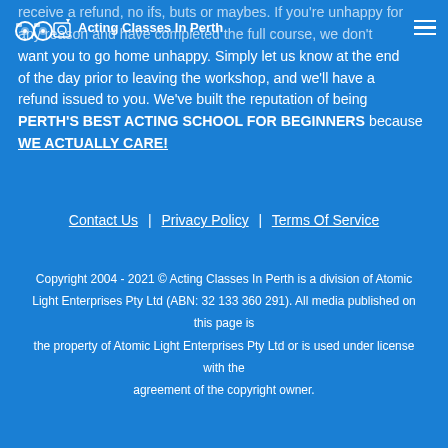Acting Classes In Perth
receive a refund, no ifs, buts or maybes. If you're unhappy for any reason and have completed the full course, we don't want you to go home unhappy. Simply let us know at the end of the day prior to leaving the workshop, and we'll have a refund issued to you. We've built the reputation of being PERTH'S BEST ACTING SCHOOL FOR BEGINNERS because WE ACTUALLY CARE!
Contact Us | Privacy Policy | Terms Of Service
Copyright 2004 - 2021 © Acting Classes In Perth is a division of Atomic Light Enterprises Pty Ltd (ABN: 32 133 360 291). All media published on this page is the property of Atomic Light Enterprises Pty Ltd or is used under license with the agreement of the copyright owner.